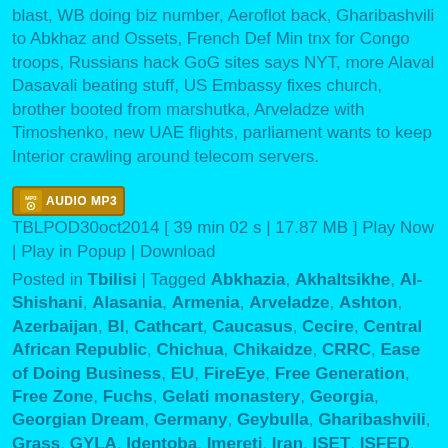blast, WB doing biz number, Aeroflot back, Gharibashvili to Abkhaz and Ossets, French Def Min tnx for Congo troops, Russians hack GoG sites says NYT, more Alaval Dasavali beating stuff, US Embassy fixes church, brother booted from marshutka, Arveladze with Timoshenko, new UAE flights, parliament wants to keep Interior crawling around telecom servers.
TBLPOD30oct2014 [ 39 min 02 s | 17.87 MB ] Play Now | Play in Popup | Download
Posted in Tbilisi | Tagged Abkhazia, Akhaltsikhe, Al-Shishani, Alasania, Armenia, Arveladze, Ashton, Azerbaijan, BI, Cathcart, Caucasus, Cecire, Central African Republic, Chichua, Chikaidze, CRRC, Ease of Doing Business, EU, FireEye, Free Generation, Free Zone, Fuchs, Gelati monastery, Georgia, Georgian Dream, Germany, Geybulla, Gharibashvili, Grass, GYLA, Identoba, Imereti, Iran, ISET, ISFED, Japaridze, Jobe, Kirvalidze, Kurgunayeva, Kviris Azrebi, Le Drian, Margvelashvili, Metreveli, Misha, Mokhe, Moscow, Narmania, NATO, Norland, Panjikidze, Pankisi Gorge, RFE/RL, Russia, Rustaveli, Rustavi 2, Samtskhe-Javakheti, Shavgulidze, Silknet, Sokhumi, South Ossetia, Tbilisi, Tbilisoba, Tehran,